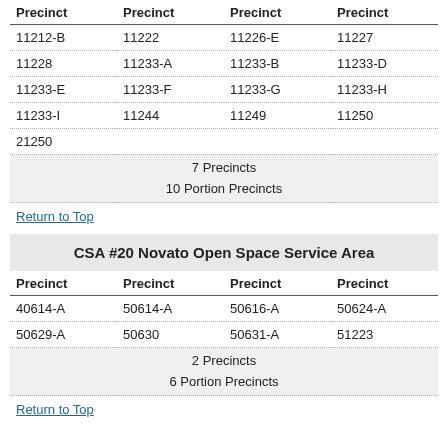| Precinct | Precinct | Precinct | Precinct |
| --- | --- | --- | --- |
| 11212-B | 11222 | 11226-E | 11227 |
| 11228 | 11233-A | 11233-B | 11233-D |
| 11233-E | 11233-F | 11233-G | 11233-H |
| 11233-I | 11244 | 11249 | 11250 |
| 21250 |  |  |  |
| 7 Precincts |  |  |  |
| 10 Portion Precincts |  |  |  |
Return to Top
CSA #20 Novato Open Space Service Area
| Precinct | Precinct | Precinct | Precinct |
| --- | --- | --- | --- |
| 40614-A | 50614-A | 50616-A | 50624-A |
| 50629-A | 50630 | 50631-A | 51223 |
| 2 Precincts |  |  |  |
| 6 Portion Precincts |  |  |  |
Return to Top